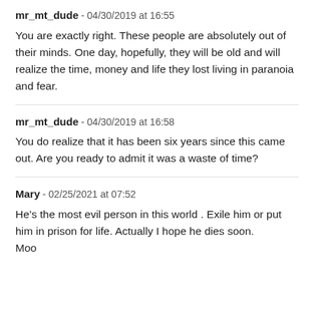mr_mt_dude - 04/30/2019 at 16:55
You are exactly right. These people are absolutely out of their minds. One day, hopefully, they will be old and will realize the time, money and life they lost living in paranoia and fear.
mr_mt_dude - 04/30/2019 at 16:58
You do realize that it has been six years since this came out. Are you ready to admit it was a waste of time?
Mary - 02/25/2021 at 07:52
He’s the most evil person in this world . Exile him or put him in prison for life. Actually I hope he dies soon.
Moo